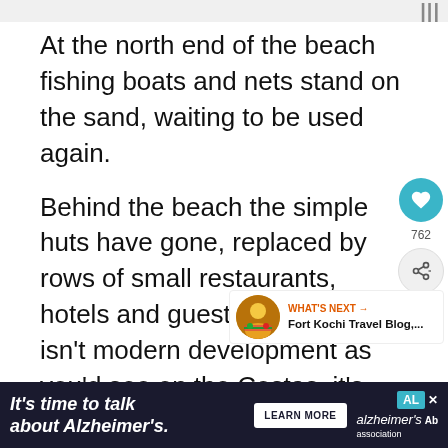At the north end of the beach fishing boats and nets stand on the sand, waiting to be used again.
Behind the beach the simple huts have gone, replaced by rows of small restaurants, hotels and guest houses. This isn’t modern development as you’d see on the Costas, it’s very Indian and quite charming.
Tiny shops, Ayurvedic massage establishments, yoga centers, and tailors w...ies
[Figure (other): Heart/like button icon (teal circle with heart) and share button icon with count 762, and a 'What's Next' recommendation panel showing Fort Kochi Travel Blog]
[Figure (other): Advertisement banner: 'It’s time to talk about Alzheimer’s.' with LEARN MORE button and Alzheimer's Association logo]